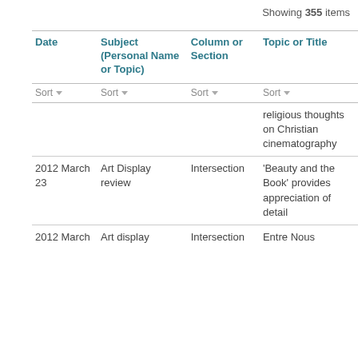Showing 355 items
| Date | Subject (Personal Name or Topic) | Column or Section | Topic or Title |
| --- | --- | --- | --- |
|  |  |  | religious thoughts on Christian cinematography |
| 2012 March 23 | Art Display review | Intersection | 'Beauty and the Book' provides appreciation of detail |
| 2012 March | Art display | Intersection | Entre Nous |